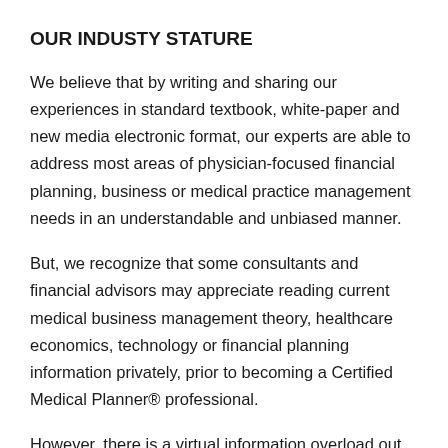OUR INDUSTY STATURE
We believe that by writing and sharing our experiences in standard textbook, white-paper and new media electronic format, our experts are able to address most areas of physician-focused financial planning, business or medical practice management needs in an understandable and unbiased manner.
But, we recognize that some consultants and financial advisors may appreciate reading current medical business management theory, healthcare economics, technology or financial planning information privately, prior to becoming a Certified Medical Planner® professional.
However, there is a virtual information overload out there, little of which addresses the pragmatic concerns of the